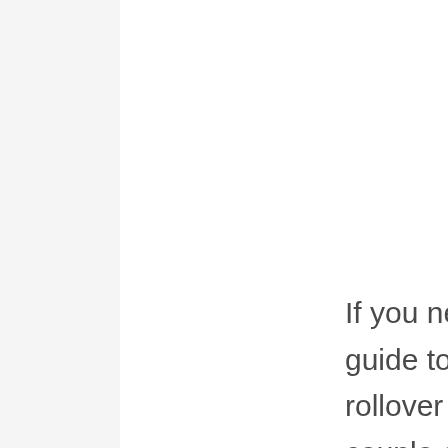If you need a location to start, inspect out our guide to the world's most trustworthy Gold IRA rollover companies. Beyond that, there are a couple of standard guideline that must be kept top of mind when researching for a Gold IRA custodian, including: 1. Track record and Prestige It ought to go without saying that a company with a rock-solid track record and client complete satisfaction profile is vital when buying a Gold IRA company.